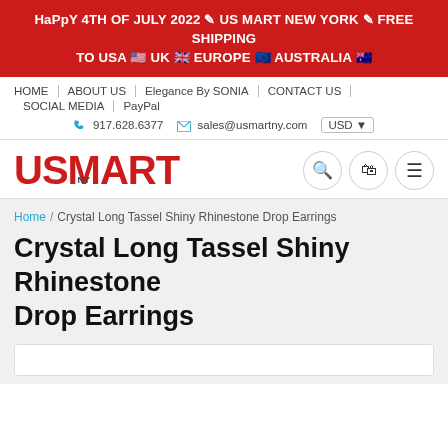HaPpY 4TH OF JULY 2022 ☆ US MART NEW YORK ☆ FREE SHIPPING TO USA 🇺🇸 UK 🇬🇧 EUROPE 🇪🇺 AUSTRALIA 🇦🇺
HOME | ABOUT US | Elegance By SONIA | CONTACT US | SOCIAL MEDIA | PayPal
☎ 917.628.6377  ✉ sales@usmartny.com  USD ▾
[Figure (logo): USMART NY logo in bold red letters with NY in small text below the A, plus search, cart, and menu icons]
Home / Crystal Long Tassel Shiny Rhinestone Drop Earrings
Crystal Long Tassel Shiny Rhinestone Drop Earrings